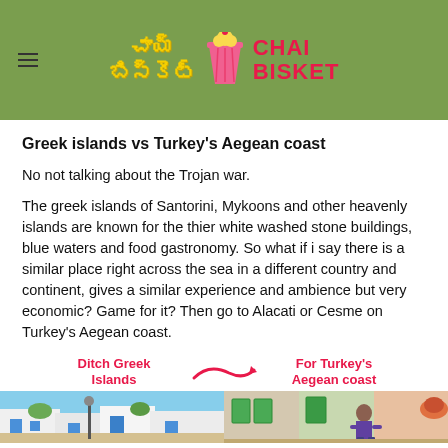Chai Bisket
Greek islands vs Turkey's Aegean coast
No not talking about the Trojan war.
The greek islands of Santorini, Mykoons and other heavenly islands are known for the thier white washed stone buildings, blue waters and food gastronomy. So what if i say there is a similar place right across the sea in a different country and continent, gives a similar experience and ambience but very economic? Game for it? Then go to Alacati or Cesme on Turkey's Aegean coast.
[Figure (infographic): Infographic showing 'Ditch Greek Islands' on the left with an arrow pointing to 'For Turkey's Aegean coast' on the right, with two comparison photos below — a Greek island street scene on the left and a Turkish Aegean coast scene on the right.]